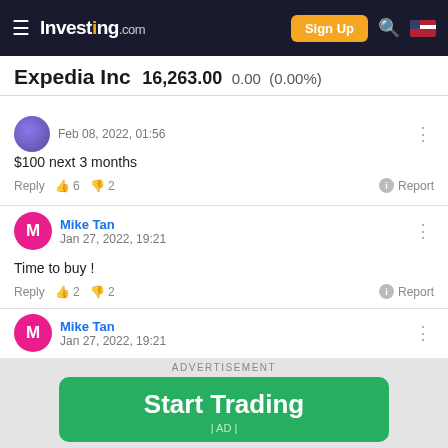Investing.com | Sign Up
Expedia Inc 16,263.00 0.00 (0.00%)
Feb 08, 2022, 01:56
$100 next 3 months
Reply 👍 6 👎 2 Report
Mike Tan
Jan 27, 2022, 19:21
Time to buy !
Reply 👍 2 👎 2 Report
Mike Tan
Jan 27, 2022, 19:21
ADVERTISEMENT
Start Trading
| AD |